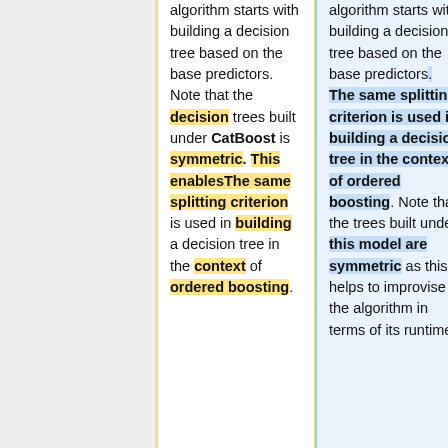algorithm starts with building a decision tree based on the base predictors. Note that the decision trees built under CatBoost is symmetric. This enablesThe same splitting criterion is used in building a decision tree in the context of ordered boosting.
algorithm starts with building a decision tree based on the base predictors. The same splitting criterion is used in building a decision tree in the context of ordered boosting. Note that the trees built under this model are symmetric as this helps to improvise the algorithm in terms of its runtime.